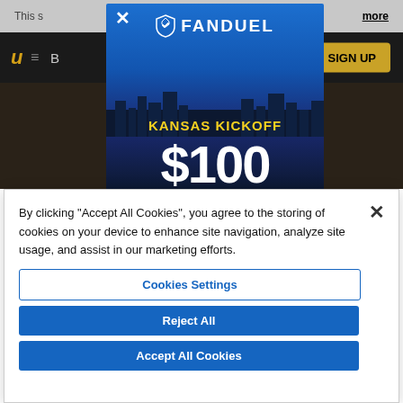[Figure (screenshot): FanDuel advertisement popup overlay on a dark sports website background showing 'KANSAS KICKOFF $100' promotion with FanDuel logo and shield icon]
[Figure (screenshot): Website navigation bar with logo, hamburger menu, partial text 'B', and a gold 'SIGN UP' button on black background]
By clicking “Accept All Cookies”, you agree to the storing of cookies on your device to enhance site navigation, analyze site usage, and assist in our marketing efforts.
Cookies Settings
Reject All
Accept All Cookies